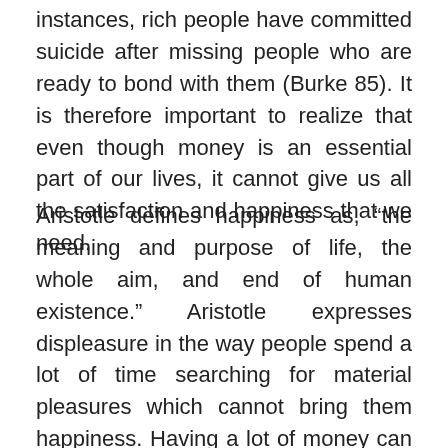instances, rich people have committed suicide after missing people who are ready to bond with them (Burke 85). It is therefore important to realize that even though money is an essential part of our lives, it cannot give us all the satisfaction and happiness that we need.
Aristotle defines happiness as, “the meaning and purpose of life, the whole aim, and end of human existence.” Aristotle expresses displeasure in the way people spend a lot of time searching for material pleasures which cannot bring them happiness. Having a lot of money can be stressful. First, a person does not have peace of mind since he/she has to plan, manage and grow the money. As a result, one is likely to slump into depression whenever the level of cash declines. Numerous surveys conducted in the United States on the life